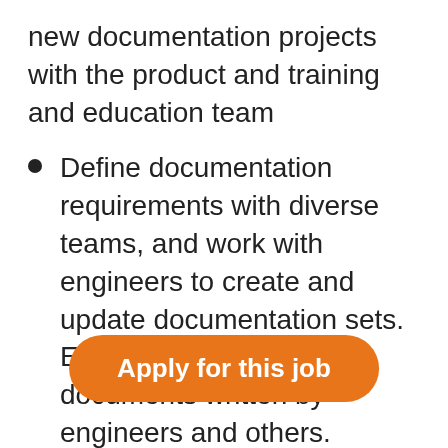new documentation projects with the product and training and education team
Define documentation requirements with diverse teams, and work with engineers to create and update documentation sets. Edit, clarify, and enhance documents written by engineers and others.
Collaborate with the head of training and education to create educational techni…
Collaborate with the academic
Apply for this job